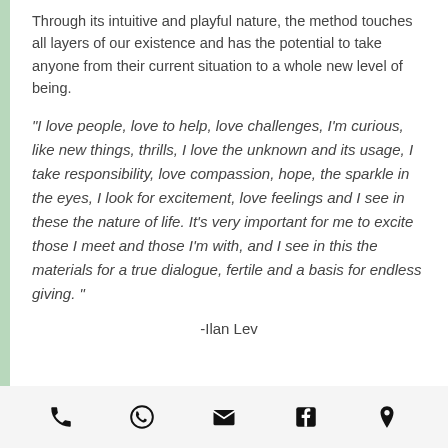Through its intuitive and playful nature, the method touches all layers of our existence and has the potential to take anyone from their current situation to a whole new level of being.
“I love people, love to help, love challenges, I’m curious, like new things, thrills, I love the unknown and its usage, I take responsibility, love compassion, hope, the sparkle in the eyes, I look for excitement, love feelings and I see in these the nature of life. It’s very important for me to excite those I meet and those I’m with, and I see in this the materials for a true dialogue, fertile and a basis for endless giving.”
-Ilan Lev
[Figure (infographic): Footer bar with five icons: phone, WhatsApp, email, Facebook, location pin]